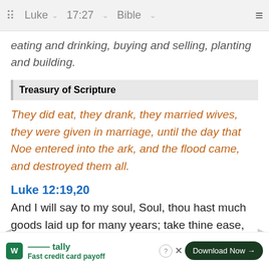Luke 17:27 Bible
eating and drinking, buying and selling, planting and building.
Treasury of Scripture
They did eat, they drank, they married wives, they were given in marriage, until the day that Noe entered into the ark, and the flood came, and destroyed them all.
Luke 12:19,20
And I will say to my soul, Soul, thou hast much goods laid up for many years; take thine ease, eat, drink, and be merry...
Luke 16:19-23
There was a rich man, which was clothed in purple and fine linen, and fared sumptuously every day: